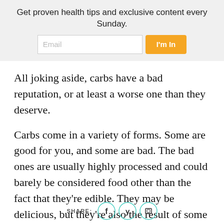Get proven health tips and exclusive content every Sunday.
All joking aside, carbs have a bad reputation, or at least a worse one than they deserve.
Carbs come in a variety of forms. Some are good for you, and some are bad. The bad ones are usually highly processed and could barely be considered food other than the fact that they're edible. They may be delicious, but they're also the result of some crazy
SHARE: [facebook] [twitter] [share]